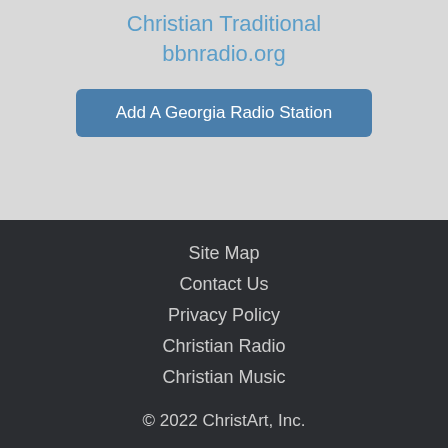Christian Traditional
bbnradio.org
Add A Georgia Radio Station
Site Map
Contact Us
Privacy Policy
Christian Radio
Christian Music
© 2022 ChristArt, Inc.